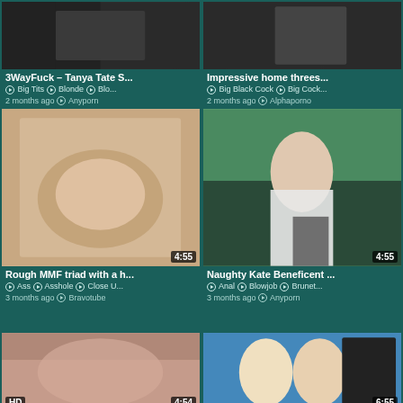[Figure (screenshot): Video thumbnail 1: 3WayFuck - Tanya Tate S...]
3WayFuck – Tanya Tate S...
Big Tits  Blonde  Blo...
2 months ago  Anyporn
[Figure (screenshot): Video thumbnail 2: Impressive home threes...]
Impressive home threes...
Big Black Cock  Big Cock...
2 months ago  Alphaporno
[Figure (screenshot): Video thumbnail 3: Rough MMF triad with a h... (4:55)]
Rough MMF triad with a h...
Ass  Asshole  Close U...
3 months ago  Bravotube
[Figure (screenshot): Video thumbnail 4: Naughty Kate Beneficent... (4:55)]
Naughty Kate Beneficent ...
Anal  Blowjob  Brunet...
3 months ago  Anyporn
[Figure (screenshot): Video thumbnail 5: HD 4:54]
[Figure (screenshot): Video thumbnail 6: 6:55]